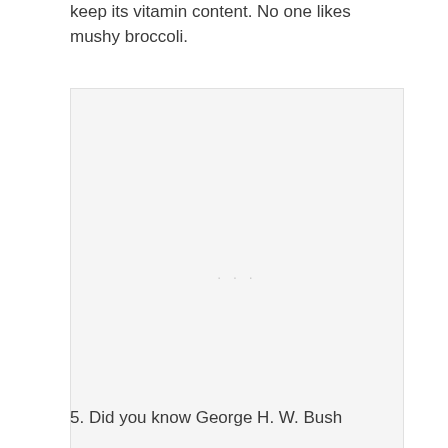keep its vitamin content. No one likes mushy broccoli.
[Figure (photo): A placeholder image area with a light gray background, approximately square, with faint loading dots in the center.]
5. Did you know George H. W. Bush